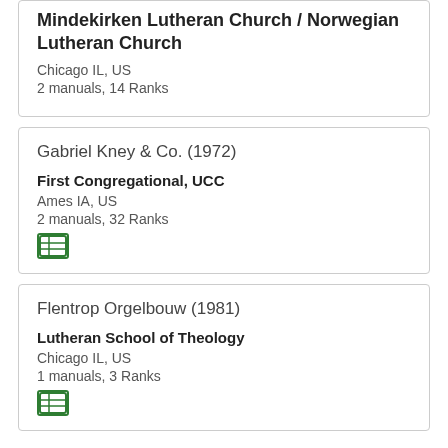Mindekirken Lutheran Church / Norwegian Lutheran Church
Chicago IL, US
2 manuals, 14 Ranks
Gabriel Kney & Co. (1972)
First Congregational, UCC
Ames IA, US
2 manuals, 32 Ranks
Flentrop Orgelbouw (1981)
Lutheran School of Theology
Chicago IL, US
1 manuals, 3 Ranks